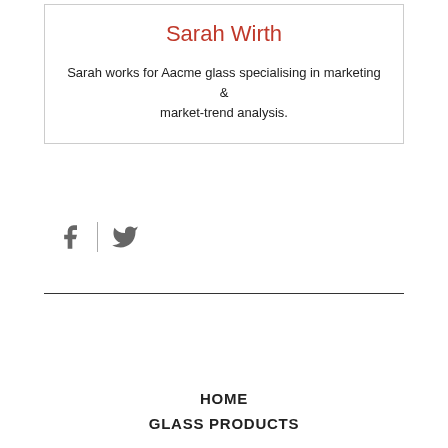Sarah Wirth
Sarah works for Aacme glass specialising in marketing & market-trend analysis.
[Figure (other): Social sharing icons: Facebook and Twitter separated by a vertical divider line]
HOME
GLASS PRODUCTS